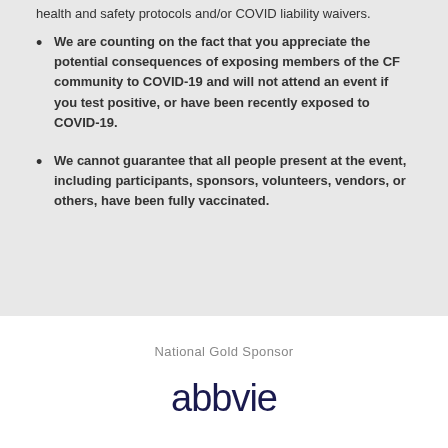health and safety protocols and/or COVID liability waivers.
We are counting on the fact that you appreciate the potential consequences of exposing members of the CF community to COVID-19 and will not attend an event if you test positive, or have been recently exposed to COVID-19.
We cannot guarantee that all people present at the event, including participants, sponsors, volunteers, vendors, or others, have been fully vaccinated.
National Gold Sponsor
[Figure (logo): AbbVie logo in dark navy text]